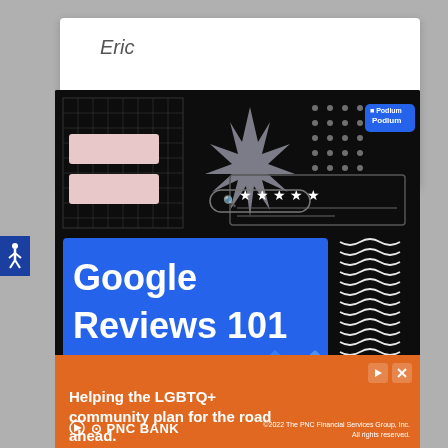Eric
[Figure (illustration): Podium Google Reviews 101 promotional banner on black background with decorative elements: grid pattern, starburst, dot grid, Podium logo in blue, five-star rating box, search bar, blue rectangle with 'Google Reviews 101' in bold white text, wavy line pattern, and X marks along the bottom]
[Figure (illustration): PNC Bank advertisement on orange background: 'Helping the LGBTQ+ community plan for the road ahead.' with PNC Bank logo and copyright 2022 The PNC Financial Services Group, Inc. All rights reserved.]